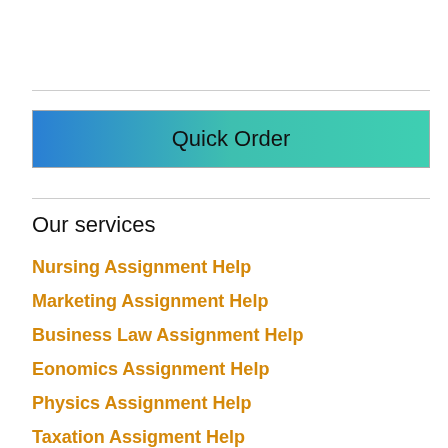[Figure (other): Gradient button with text 'Quick Order', blue to teal gradient background]
Our services
Nursing Assignment Help
Marketing Assignment Help
Business Law Assignment Help
Eonomics Assignment Help
Physics Assignment Help
Taxation Assigment Help